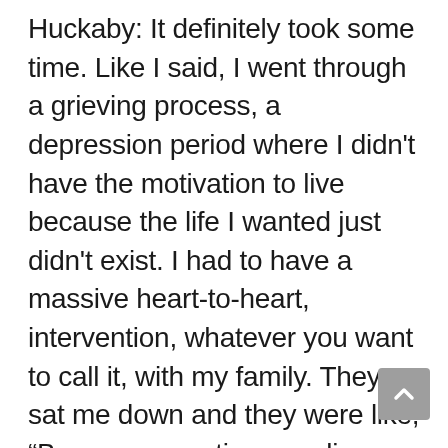Huckaby: It definitely took some time. Like I said, I went through a grieving process, a depression period where I didn't have the motivation to live because the life I wanted just didn't exist. I had to have a massive heart-to-heart, intervention, whatever you want to call it, with my family. They sat me down and they were like, "Brenna, every time you lie on this couch, cancer is winning. The more that you're not getting up and living your new life, cancer will continue to hold you back. It's time to beat cancer once and for all and move forward through it." We knew that gymnastics was my outlet before. So, we were like, "Let's find your new gymnastics, your new sport." I tried gymnastics again, but it didn't give me the light that I had before. That started a whole process